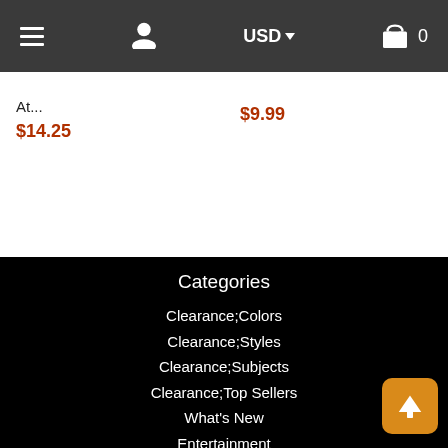Navigation bar with hamburger menu, user icon, USD currency selector, and cart (0)
At...
$14.25
$9.99
Categories
Clearance;Colors
Clearance;Styles
Clearance;Subjects
Clearance;Top Sellers
What's New
Entertainment
Sports
Subjects
Styles
Collections